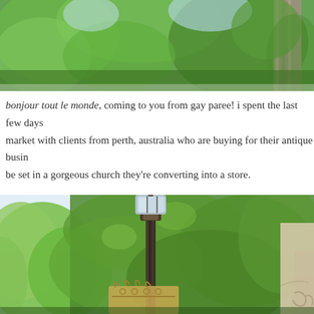[Figure (photo): Top portion of a photo showing lush green foliage/trees against a light sky, with what appears to be a stone column visible on the right side.]
bonjour tout le monde, coming to you from gay paree! i spent the last few days at the market with clients from perth, australia who are buying for their antique busin… be set in a gorgeous church they're converting into a store.
[Figure (photo): Photo of a classic Parisian street lamp (lantern on a dark pole) in front of a building wall covered heavily in green ivy/vines. Green trees visible on the left. Ornate iron gate visible at bottom center. Decorative stonework of a building visible at right.]